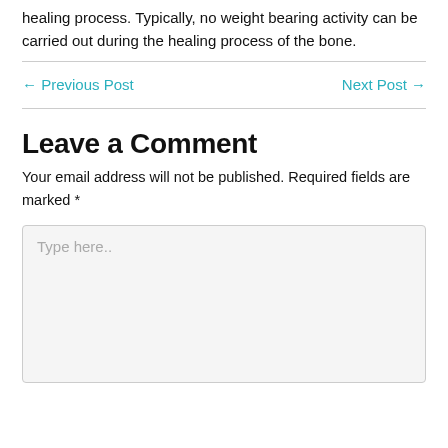healing process. Typically, no weight bearing activity can be carried out during the healing process of the bone.
← Previous Post
Next Post →
Leave a Comment
Your email address will not be published. Required fields are marked *
Type here..